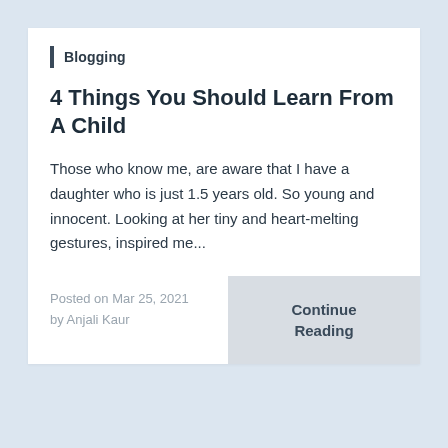Blogging
4 Things You Should Learn From A Child
Those who know me, are aware that I have a daughter who is just 1.5 years old. So young and innocent. Looking at her tiny and heart-melting gestures, inspired me...
Posted on Mar 25, 2021 by Anjali Kaur
Continue Reading